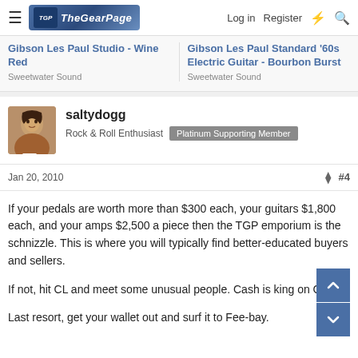The Gear Page — Log in Register
Gibson Les Paul Studio - Wine Red
Sweetwater Sound
Gibson Les Paul Standard '60s Electric Guitar - Bourbon Burst
Sweetwater Sound
saltydogg
Rock & Roll Enthusiast  Platinum Supporting Member
Jan 20, 2010  #4
If your pedals are worth more than $300 each, your guitars $1,800 each, and your amps $2,500 a piece then the TGP emporium is the schnizzle. This is where you will typically find better-educated buyers and sellers.

If not, hit CL and meet some unusual people. Cash is king on CL.

Last resort, get your wallet out and surf it to Fee-bay.